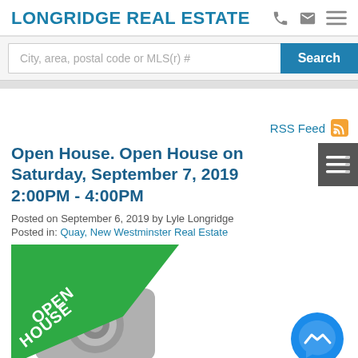LONGRIDGE REAL ESTATE
City, area, postal code or MLS(r) #
Search
RSS Feed
Open House. Open House on Saturday, September 7, 2019 2:00PM - 4:00PM
Posted on September 6, 2019 by Lyle Longridge
Posted in: Quay, New Westminster Real Estate
[Figure (illustration): Open House placeholder image with camera icon and green diagonal banner reading OPEN HOUSE]